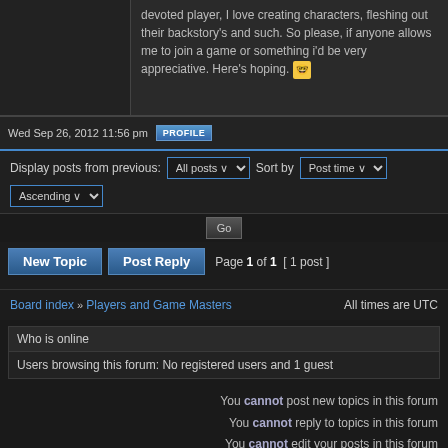devoted player, I love creating characters, fleshing out their backstory's and such. So please, if anyone allows me to join a game or something i'd be very appreciative. Here's hoping.
Wed Sep 26, 2012 11:56 pm
Display posts from previous: All posts Sort by Post time Ascending Go
New Topic  Post Reply  Page 1 of 1  [ 1 post ]
Board index » Players and Game Masters   All times are UTC
Who is online
Users browsing this forum: No registered users and 1 guest
You cannot post new topics in this forum
You cannot reply to topics in this forum
You cannot edit your posts in this forum
You cannot delete your posts in this forum
You cannot post attachments in this forum
Search for:
Jump to: Players and Game Masters
Powered by phpBB © 2000, 2002, 2005, 2007 phpBB Group. Designed by Vjacheslav Trushkin for Free Forums/DivisionCore.